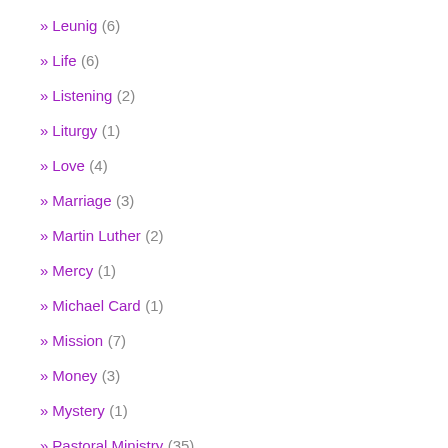» Leunig (6)
» Life (6)
» Listening (2)
» Liturgy (1)
» Love (4)
» Marriage (3)
» Martin Luther (2)
» Mercy (1)
» Michael Card (1)
» Mission (7)
» Money (3)
» Mystery (1)
» Pastoral Ministry (35)
» Pentecost (2)
» Poem (28)